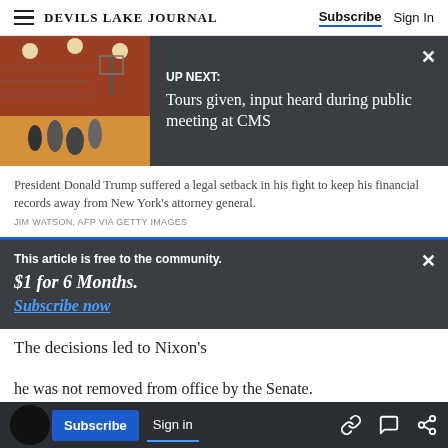DEVILS LAKE JOURNAL | Subscribe | Sign In
[Figure (screenshot): Up next banner with gym photo. Text: UP NEXT: Tours given, input heard during public meeting at CMS]
President Donald Trump suffered a legal setback in his fight to keep his financial records away from New York's attorney general.
JIM WATSON, AFP VIA GETTY IMAGES
This article is free to the community. $1 for 6 Months. Subscribe now
The decisions led to Nixon's
he was not removed from office by the Senate.